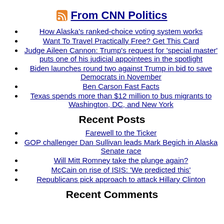From CNN Politics
How Alaska's ranked-choice voting system works
Want To Travel Practically Free? Get This Card
Judge Aileen Cannon: Trump's request for 'special master' puts one of his judicial appointees in the spotlight
Biden launches round two against Trump in bid to save Democrats in November
Ben Carson Fast Facts
Texas spends more than $12 million to bus migrants to Washington, DC, and New York
Recent Posts
Farewell to the Ticker
GOP challenger Dan Sullivan leads Mark Begich in Alaska Senate race
Will Mitt Romney take the plunge again?
McCain on rise of ISIS: 'We predicted this'
Republicans pick approach to attack Hillary Clinton
Recent Comments